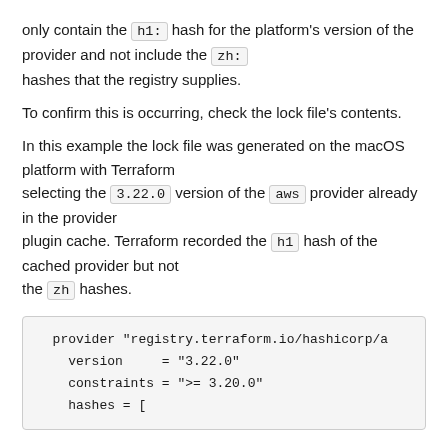only contain the h1: hash for the platform's version of the provider and not include the zh: hashes that the registry supplies.
To confirm this is occurring, check the lock file's contents.
In this example the lock file was generated on the macOS platform with Terraform selecting the 3.22.0 version of the aws provider already in the provider plugin cache. Terraform recorded the h1 hash of the cached provider but not the zh hashes.
[Figure (screenshot): Code block showing Terraform lock file provider entry with version 3.22.0, constraints >= 3.20.0, and hashes array beginning]